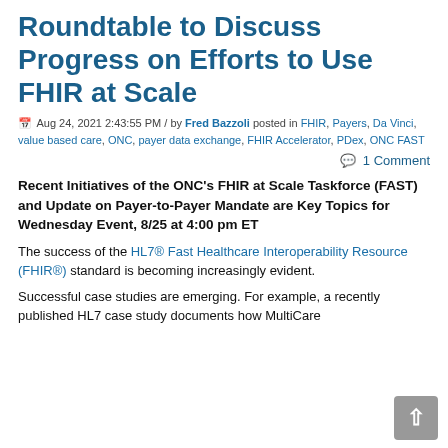Roundtable to Discuss Progress on Efforts to Use FHIR at Scale
Aug 24, 2021 2:43:55 PM / by Fred Bazzoli posted in FHIR, Payers, Da Vinci, value based care, ONC, payer data exchange, FHIR Accelerator, PDex, ONC FAST
1 Comment
Recent Initiatives of the ONC's FHIR at Scale Taskforce (FAST) and Update on Payer-to-Payer Mandate are Key Topics for Wednesday Event, 8/25 at 4:00 pm ET
The success of the HL7® Fast Healthcare Interoperability Resource (FHIR®) standard is becoming increasingly evident.
Successful case studies are emerging. For example, a recently published HL7 case study documents how MultiCare